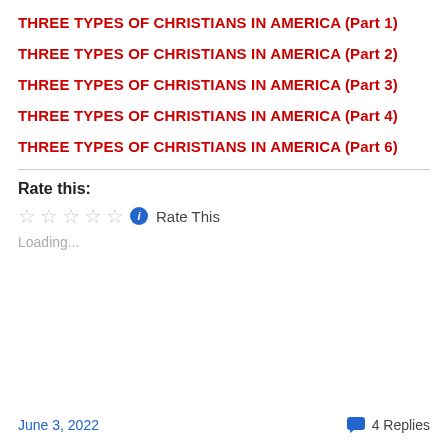THREE TYPES OF CHRISTIANS IN AMERICA (Part 1)
THREE TYPES OF CHRISTIANS IN AMERICA (Part 2)
THREE TYPES OF CHRISTIANS IN AMERICA (Part 3)
THREE TYPES OF CHRISTIANS IN AMERICA (Part 4)
THREE TYPES OF CHRISTIANS IN AMERICA (Part 6)
Rate this:
Rate This
Loading...
June 3, 2022   4 Replies